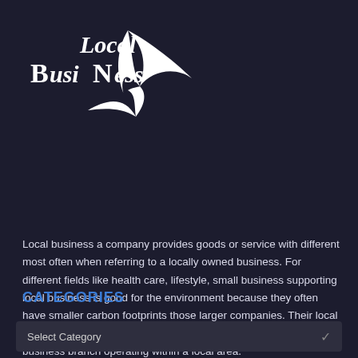[Figure (logo): Local Business logo with stylized white arrow/bird shape and text 'Local Business' in serif bold italic font on dark background]
Local business a company provides goods or service with different most often when referring to a locally owned business. For different fields like health care, lifestyle, small business supporting local business is good for the environment because they often have smaller carbon footprints those larger companies. Their local communities and donate more money to non-profit. It is among top business branch operating within a local area.
CATEGORIES
Select Category